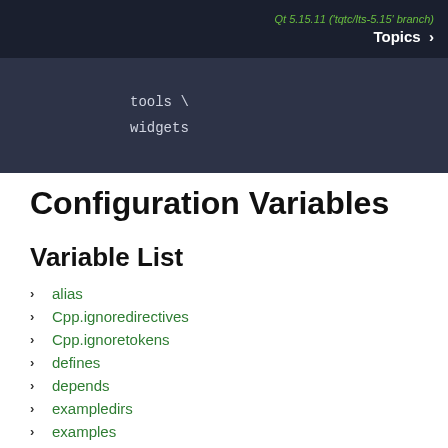Qt 5.15.11 ('tqtc/lts-5.15' branch)  Topics >
[Figure (screenshot): Dark blue-gray code block showing 'tools \' and 'widgets' in monospace font]
Configuration Variables
Variable List
alias
Cpp.ignoredirectives
Cpp.ignoretokens
defines
depends
exampledirs
examples
examples.fileextensions